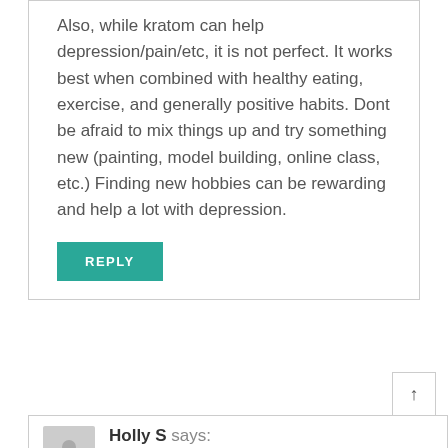Also, while kratom can help depression/pain/etc, it is not perfect. It works best when combined with healthy eating, exercise, and generally positive habits. Dont be afraid to mix things up and try something new (painting, model building, online class, etc.) Finding new hobbies can be rewarding and help a lot with depression.
REPLY
Holly S says:
May 12, 2020 at 4:52 PM